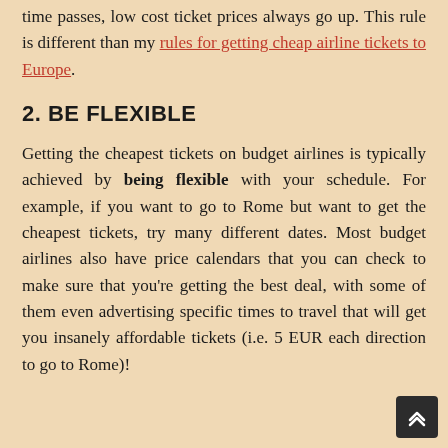time passes, low cost ticket prices always go up. This rule is different than my rules for getting cheap airline tickets to Europe.
2. BE FLEXIBLE
Getting the cheapest tickets on budget airlines is typically achieved by being flexible with your schedule. For example, if you want to go to Rome but want to get the cheapest tickets, try many different dates. Most budget airlines also have price calendars that you can check to make sure that you're getting the best deal, with some of them even advertising specific times to travel that will get you insanely affordable tickets (i.e. 5 EUR each direction to go to Rome)!